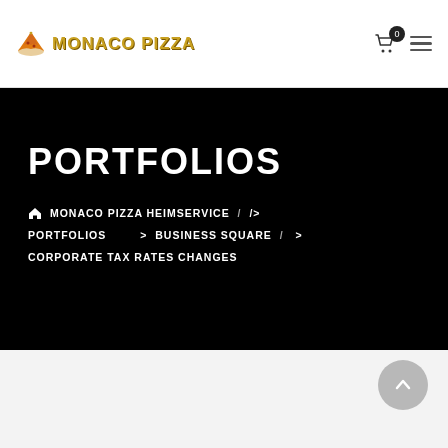MONACO PIZZA
PORTFOLIOS
MONACO PIZZA HEIMSERVICE / /> PORTFOLIOS > BUSINESS SQUARE / > CORPORATE TAX RATES CHANGES